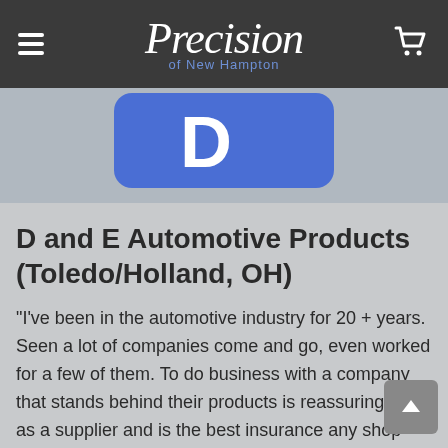Precision of New Hampton
[Figure (logo): Blue rounded square logo with white 'D' letter on gray background]
D and E Automotive Products (Toledo/Holland, OH)
"I've been in the automotive industry for 20 + years. Seen a lot of companies come and go, even worked for a few of them. To do business with a company that stands behind their products is reassuring to us as a supplier and is the best insurance any shop could ever ask for...